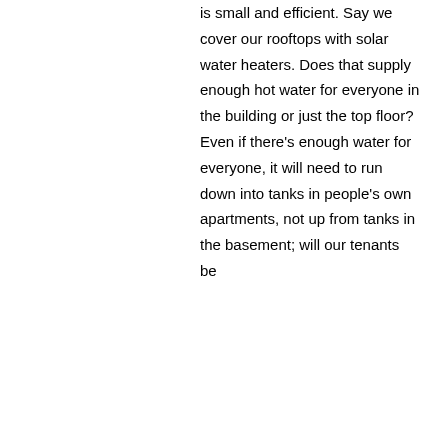is small and efficient. Say we cover our rooftops with solar water heaters. Does that supply enough hot water for everyone in the building or just the top floor? Even if there's enough water for everyone, it will need to run down into tanks in people's own apartments, not up from tanks in the basement; will our tenants be